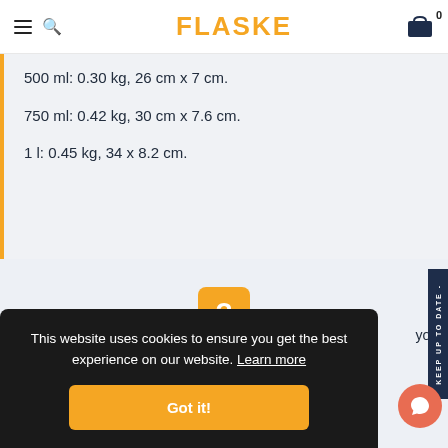FLASKE
500 ml: 0.30 kg, 26 cm x 7 cm.
750 ml: 0.42 kg, 30 cm x 7.6 cm.
1 l: 0.45 kg, 34 x 8.2 cm.
[Figure (illustration): Orange question mark speech bubble icon]
This website uses cookies to ensure you get the best experience on our website. Learn more
Got it!